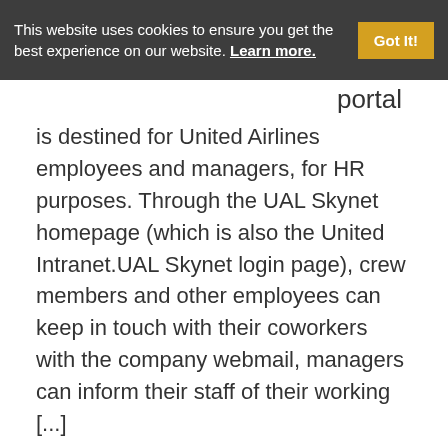This website uses cookies to ensure you get the best experience on our website. Learn more. Got It!
portal
is destined for United Airlines employees and managers, for HR purposes. Through the UAL Skynet homepage (which is also the United Intranet.UAL Skynet login page), crew members and other employees can keep in touch with their coworkers with the company webmail, managers can inform their staff of their working [...]
Leave A Comment · Employers, Jobs And Education, Travel And Transport, Web Services
US Airways